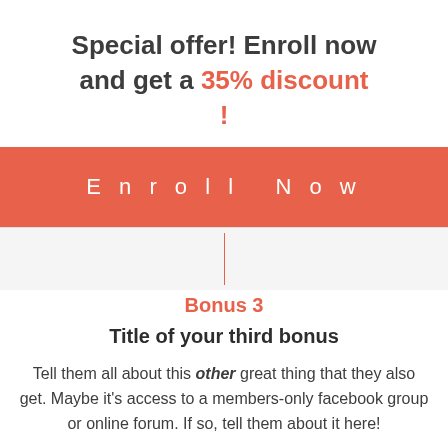Special offer! Enroll now and get a 35% discount!
Enroll Now
Bonus 3
Title of your third bonus
Tell them all about this other great thing that they also get. Maybe it's access to a members-only facebook group or online forum. If so, tell them about it here!